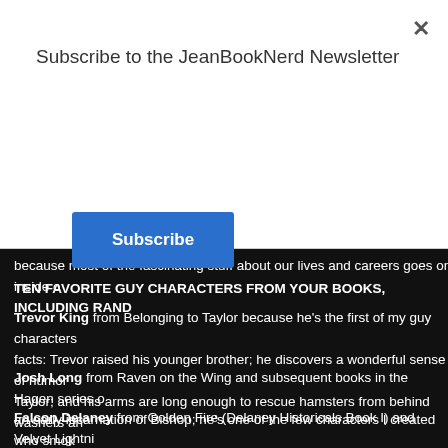Subscribe to the JeanBookNerd Newsletter
Subscribe
because most of the fascinating stuff about our lives and careers goes on inside o
TEN FAVORITE GUY CHARACTERS FROM YOUR BOOKS, INCLUDING RAND
Trevor King from Belonging to Taylor because he's the first of my guy characters facts: Trevor raised his younger brother; he discovers a wonderful sense of humor Taylor; and his arms are long enough to rescue hamsters from behind washers an
Josh Long from Raven on the Wing and subsequent books in the Hagen series o an early incarnation of Bishop; he's one of the few characters I created who smok too many drinks; and he and his half sister never say goodbye to each other.
Falcon Delaney from Golden Fire (Delaney Historicals Book I) and Velvet Lightni because he's fascinating and the first Old West guy character I created. Random f agent, he's another early incarnation of Bishop; his journal detailing amazing ever descendants of his family; he gets into a chaotic brawl at a private gaming house